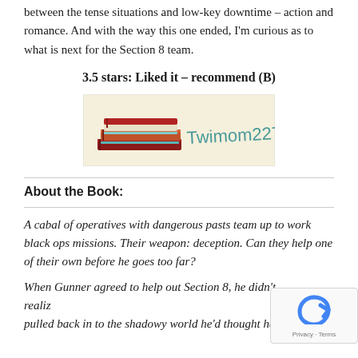between the tense situations and low-key downtime – action and romance. And with the way this one ended, I'm curious as to what is next for the Section 8 team.
3.5 stars: Liked it – recommend (B)
[Figure (logo): Twimom227 signature logo with stack of books illustration on beige background]
About the Book:
A cabal of operatives with dangerous pasts team up to work black ops missions. Their weapon: deception. Can they help one of their own before he goes too far?
When Gunner agreed to help out Section 8, he didn't realize pulled back in to the shadowy world he'd thought he'd escaped